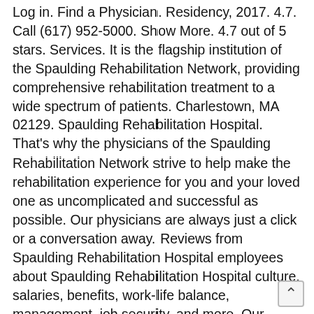Log in. Find a Physician. Residency, 2017. 4.7. Call (617) 952-5000. Show More. 4.7 out of 5 stars. Services. It is the flagship institution of the Spaulding Rehabilitation Network, providing comprehensive rehabilitation treatment to a wide spectrum of patients. Charlestown, MA 02129. Spaulding Rehabilitation Hospital. That's why the physicians of the Spaulding Rehabilitation Network strive to help make the rehabilitation experience for you and your loved one as uncomplicated and successful as possible. Our physicians are always just a click or a conversation away. Reviews from Spaulding Rehabilitation Hospital employees about Spaulding Rehabilitation Hospital culture, salaries, benefits, work-life balance, management, job security, and more. Our physicians are always just a click or a conversation away. Our ability to have . . . Spaulding is accredited by the Joint Commission, the Rehabilitation Accreditation Commission, and the American Academy f Certification of Brain Injury Specialists. This is the worst facility